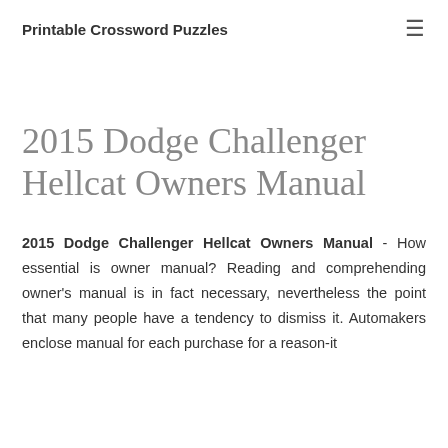Printable Crossword Puzzles
2015 Dodge Challenger Hellcat Owners Manual
2015 Dodge Challenger Hellcat Owners Manual - How essential is owner manual? Reading and comprehending owner's manual is in fact necessary, nevertheless the point that many people have a tendency to dismiss it. Automakers enclose manual for each purchase for a reason-it